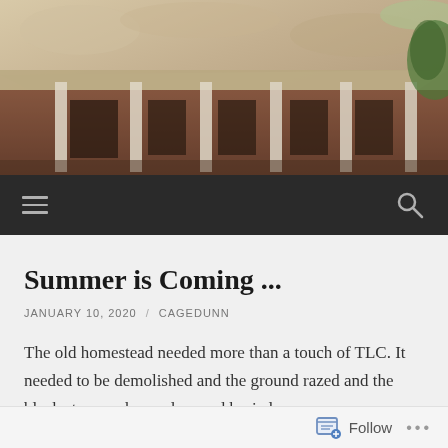[Figure (photo): Painted/filtered photograph of an old homestead building with columns and brick walls, seen from the front, with trees in background. Oil-paint style filter applied.]
≡   🔍
Summer is Coming ...
JANUARY 10, 2020 / CAGEDUNN
The old homestead needed more than a touch of TLC. It needed to be demolished and the ground razed and the black stumps chopped up and buried.
Follow  ...